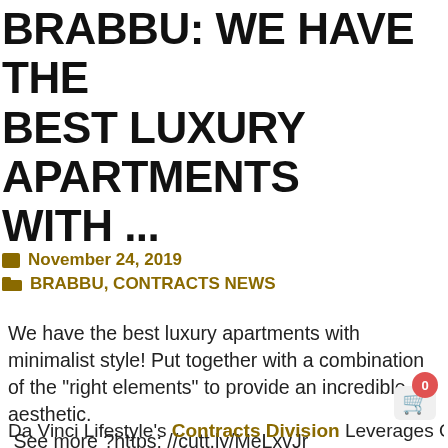BRABBU: WE HAVE THE BEST LUXURY APARTMENTS WITH ...
November 24, 2019
BRABBU, CONTRACTS NEWS
We have the best luxury apartments with minimalist style! Put together with a combination of the "right elements" to provide an incredible aesthetic. See more ?https: //cutt.ly/MeLxvJr #homedecor #interiordesign #comtemporaryfurniture
Da Vinci Lifestyle's Contracts Division Leverages On Stellar Relationships With Over 200 International...